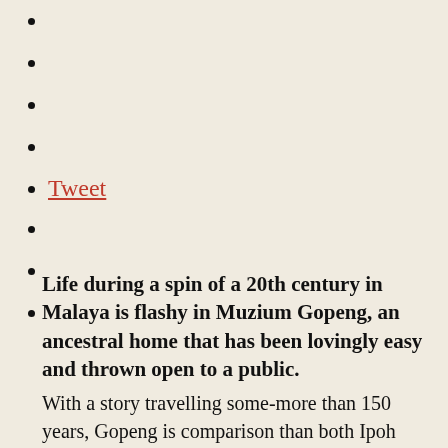Tweet
Life during a spin of a 20th century in Malaya is flashy in Muzium Gopeng, an ancestral home that has been lovingly easy and thrown open to a public.
With a story travelling some-more than 150 years, Gopeng is comparison than both Ipoh and Kuala Lumpur. Tin mining and rubber plantations were a dual